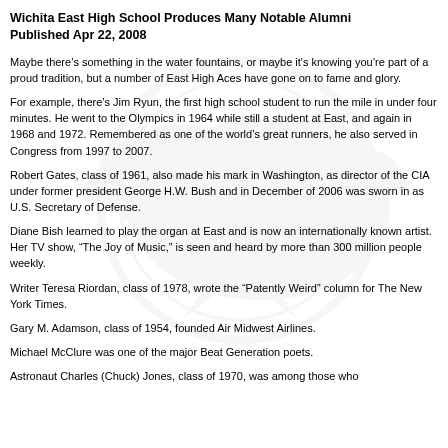Wichita East High School Produces Many Notable Alumni
Published Apr 22, 2008
Maybe there’s something in the water fountains, or maybe it's knowing you’re part of a proud tradition, but a number of East High Aces have gone on to fame and glory.
For example, there’s Jim Ryun, the first high school student to run the mile in under four minutes. He went to the Olympics in 1964 while still a student at East, and again in 1968 and 1972. Remembered as one of the world’s great runners, he also served in Congress from 1997 to 2007.
Robert Gates, class of 1961, also made his mark in Washington, as director of the CIA under former president George H.W. Bush and in December of 2006 was sworn in as U.S. Secretary of Defense.
Diane Bish learned to play the organ at East and is now an internationally known artist. Her TV show, “The Joy of Music,” is seen and heard by more than 300 million people weekly.
Writer Teresa Riordan, class of 1978, wrote the “Patently Weird” column for The New York Times.
Gary M. Adamson, class of 1954, founded Air Midwest Airlines.
Michael McClure was one of the major Beat Generation poets.
Astronaut Charles (Chuck) Jones, class of 1970, was among those who